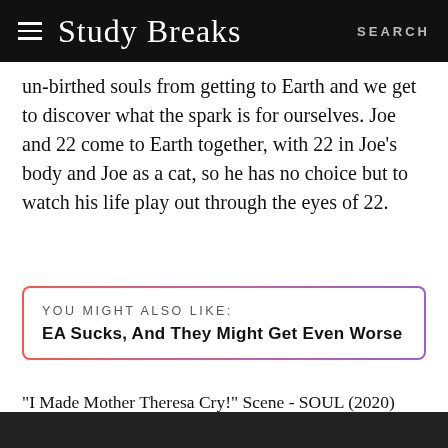Study Breaks  SEARCH
un-birthed souls from getting to Earth and we get to discover what the spark is for ourselves. Joe and 22 come to Earth together, with 22 in Joe's body and Joe as a cat, so he has no choice but to watch his life play out through the eyes of 22.
YOU MIGHT ALSO LIKE:
EA Sucks, And They Might Get Even Worse
"I Made Mother Theresa Cry!" Scene - SOUL (2020) Movie Clip